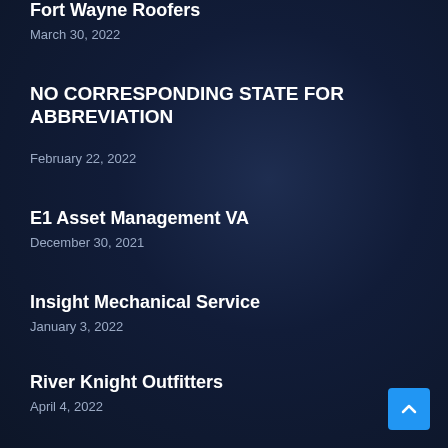Fort Wayne Roofers
March 30, 2022
NO CORRESPONDING STATE FOR ABBREVIATION
February 22, 2022
E1 Asset Management VA
December 30, 2021
Insight Mechanical Service
January 3, 2022
River Knight Outfitters
April 4, 2022